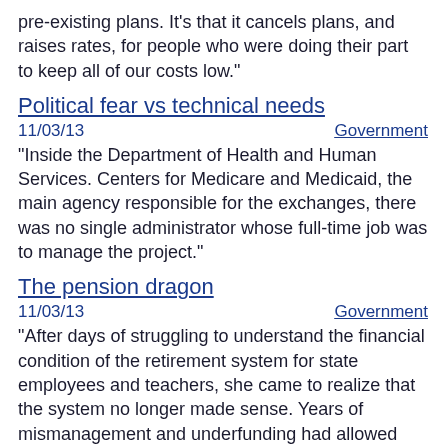pre-existing plans. It's that it cancels plans, and raises rates, for people who were doing their part to keep all of our costs low."
Political fear vs technical needs
11/03/13    Government
"Inside the Department of Health and Human Services. Centers for Medicare and Medicaid, the main agency responsible for the exchanges, there was no single administrator whose full-time job was to manage the project."
The pension dragon
11/03/13    Government
"After days of struggling to understand the financial condition of the retirement system for state employees and teachers, she came to realize that the system no longer made sense. Years of mismanagement and underfunding had allowed money to be drained that was needed to pay promised pensions. The crisis was much worse than Raimondo had expected."